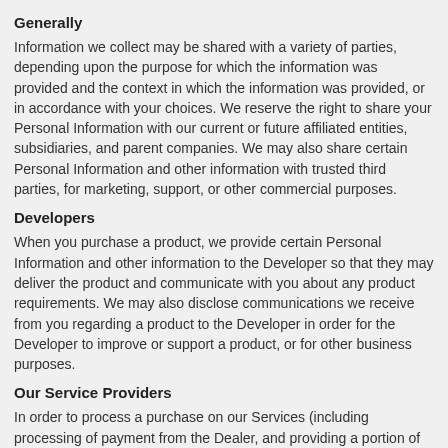Generally
Information we collect may be shared with a variety of parties, depending upon the purpose for which the information was provided and the context in which the information was provided, or in accordance with your choices. We reserve the right to share your Personal Information with our current or future affiliated entities, subsidiaries, and parent companies. We may also share certain Personal Information and other information with trusted third parties, for marketing, support, or other commercial purposes.
Developers
When you purchase a product, we provide certain Personal Information and other information to the Developer so that they may deliver the product and communicate with you about any product requirements. We may also disclose communications we receive from you regarding a product to the Developer in order for the Developer to improve or support a product, or for other business purposes.
Our Service Providers
In order to process a purchase on our Services (including processing of payment from the Dealer, and providing a portion of that payment to the Developer), we will provide certain Personal Information and other information to third party payment processors and other service providers who work on our behalf.  We may also provide email addresses and other Personal Information to third party service providers who handle our email communications, or parties hosting or otherwise providing support for our Services.  Our service providers are authorized to use Personal Information only as necessary to provide